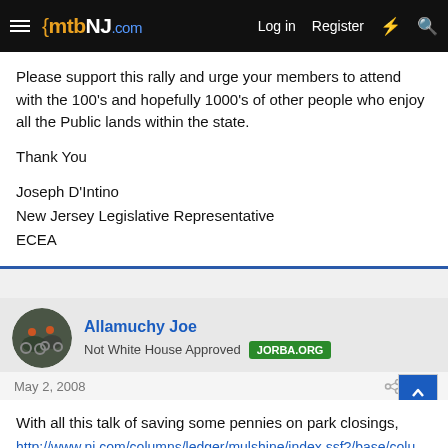mtbNJ.com | Log in | Register
Please support this rally and urge your members to attend with the 100's and hopefully 1000's of other people who enjoy all the Public lands within the state.

Thank You

Joseph D'Intino
New Jersey Legislative Representative
ECEA
Allamuchy Joe
Not White House Approved | JORBA.ORG
May 2, 2008 #10
With all this talk of saving some pennies on park closings, here's an article that will make your blood boil...
http://www.nj.com/columns/ledger/mulshine/index.ssf?/base/colu